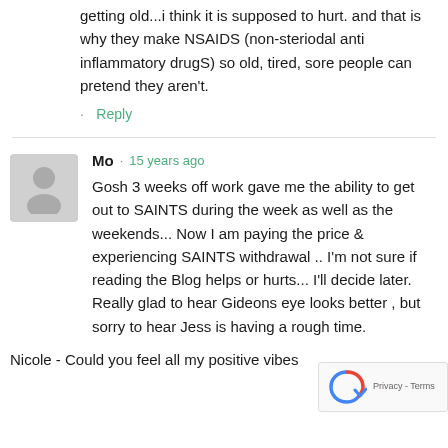getting old...i think it is supposed to hurt. and that is why they make NSAIDS (non-steriodal anti inflammatory drugS) so old, tired, sore people can pretend they aren't.
· Reply
Mo · 15 years ago
Gosh 3 weeks off work gave me the ability to get out to SAINTS during the week as well as the weekends... Now I am paying the price & experiencing SAINTS withdrawal .. I'm not sure if reading the Blog helps or hurts... I'll decide later. Really glad to hear Gideons eye looks better , but sorry to hear Jess is having a rough time.
Nicole - Could you feel all my positive vibes coming ???